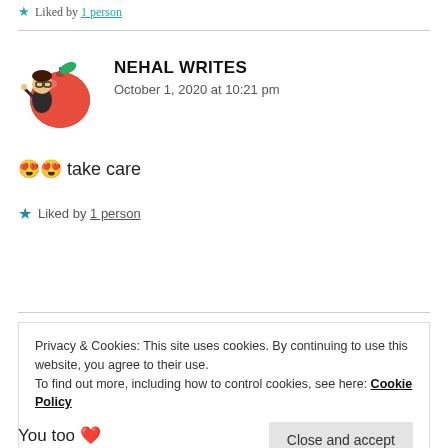Liked by 1 person
[Figure (illustration): Avatar of Nehal Writes: animated character peaking from behind a large red apple with a green leaf]
NEHAL WRITES
October 1, 2020 at 10:21 pm
😍😍 take care
Liked by 1 person
Privacy & Cookies: This site uses cookies. By continuing to use this website, you agree to their use.
To find out more, including how to control cookies, see here: Cookie Policy
Close and accept
You too ❤️